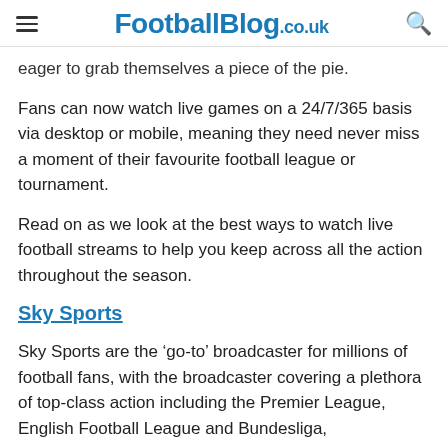FootballBlog.co.uk
eager to grab themselves a piece of the pie.
Fans can now watch live games on a 24/7/365 basis via desktop or mobile, meaning they need never miss a moment of their favourite football league or tournament.
Read on as we look at the best ways to watch live football streams to help you keep across all the action throughout the season.
Sky Sports
Sky Sports are the ‘go-to’ broadcaster for millions of football fans, with the broadcaster covering a plethora of top-class action including the Premier League, English Football League and Bundesliga,